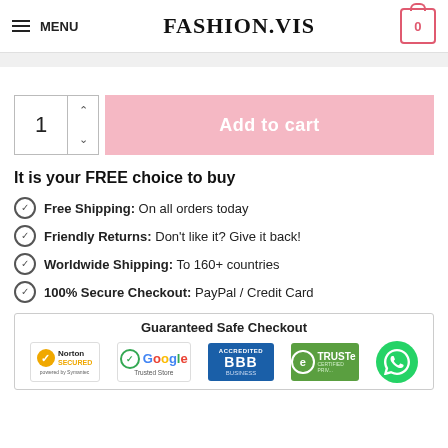MENU | FASHION.VIS | 0
1  Add to cart
It is your FREE choice to buy
Free Shipping: On all orders today
Friendly Returns: Don't like it? Give it back!
Worldwide Shipping: To 160+ countries
100% Secure Checkout: PayPal / Credit Card
Guaranteed Safe Checkout
[Figure (logo): Guaranteed Safe Checkout badges: Norton Secured powered by Symantec, Google Trusted Store, BBB Accredited Business, TRUSTe Certified Privacy, WhatsApp contact button]